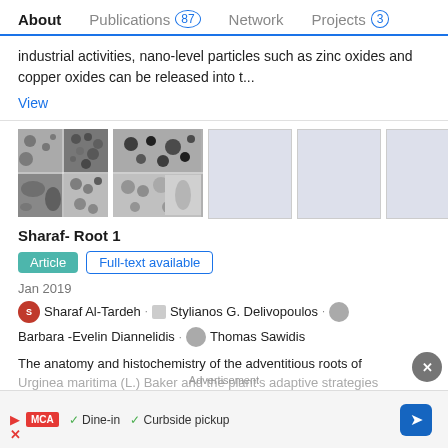About | Publications 87 | Network | Projects 3
industrial activities, nano-level particles such as zinc oxides and copper oxides can be released into t...
View
[Figure (photo): Microscopy images of plant root cross-sections in a 2x2 grid, plus 3 placeholder gray boxes]
Sharaf- Root 1
Article   Full-text available
Jan 2019
Sharaf Al-Tardeh · Stylianos G. Delivopoulos · Barbara -Evelin Diannelidis · Thomas Sawidis
The anatomy and histochemistry of the adventitious roots of Urginea maritima (L.) Baker and the plant's adaptive strategies
Advertisement
▶ MCA ✓ Dine-in ✓ Curbside pickup ➤ ✕